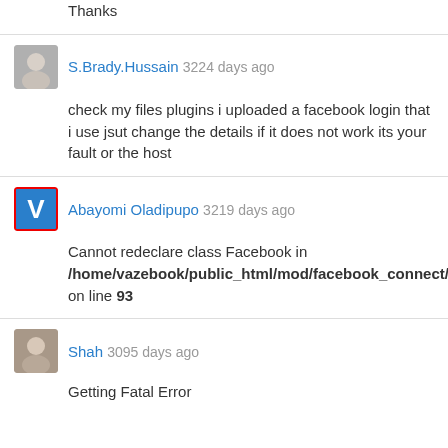Thanks
S.Brady.Hussain 3224 days ago
check my files plugins i uploaded a facebook login that i use jsut change the details if it does not work its your fault or the host
Abayomi Oladipupo 3219 days ago
Cannot redeclare class Facebook in /home/vazebook/public_html/mod/facebook_connect/vendors/facebook/facebook.php on line 93
Shah 3095 days ago
Getting Fatal Error